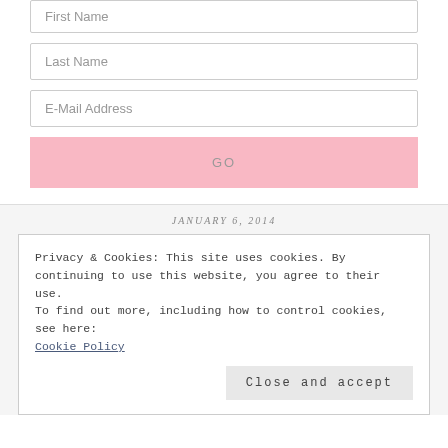First Name
Last Name
E-Mail Address
GO
JANUARY 6, 2014
Privacy & Cookies: This site uses cookies. By continuing to use this website, you agree to their use.
To find out more, including how to control cookies, see here:
Cookie Policy
Close and accept